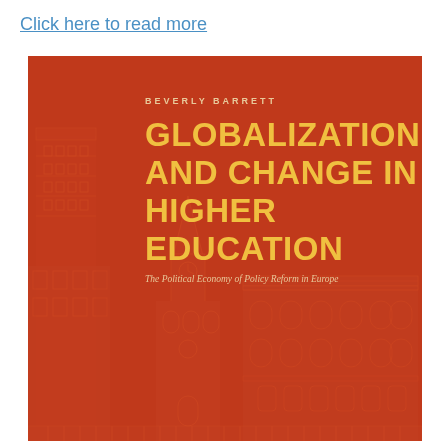Click here to read more
[Figure (illustration): Book cover for 'Globalization and Change in Higher Education: The Political Economy of Policy Reform in Europe' by Beverly Barrett. Red/dark orange background with silhouettes of university buildings (towers, domes, classical facades) in a slightly lighter red outline. Title text in large bold yellow/gold uppercase letters. Author name in small spaced caps above the title. Subtitle in italic text below the title.]